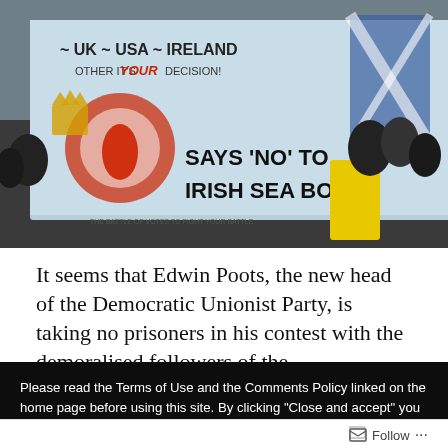[Figure (photo): Protest photo showing people holding a large banner that reads '~ UK ~ USA ~ IRELAND ~' and 'SAYS NO TO IRISH SEA BORD' with loyalist/unionist imagery including Northern Ireland flag symbols and union jacks]
It seems that Edwin Poots, the new head of the Democratic Unionist Party, is taking no prisoners in his contest with the demoralised followers of the
Please read the Terms of Use and the Comments Policy linked on the home page before using this site. By clicking "Close and accept" you consent to the terms and conditions within these policies. If you do not consent please leave this site immediately. This site uses cookies. By continuing to browse this site you agree to the use of these cookies. Learn more, including how to disable cookies, through the Privacy Policy
Close and accept